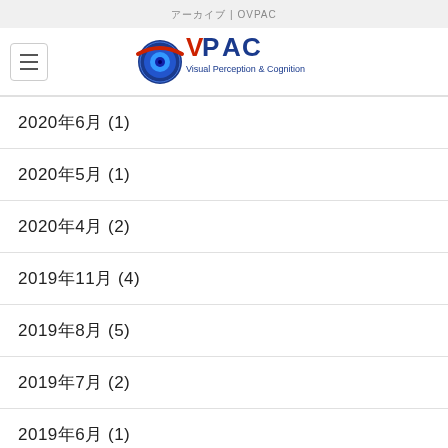アーカイブ | OVPAC
[Figure (logo): OVPAC Visual Perception & Cognition logo with eye graphic]
2020年6月 (1)
2020年5月 (1)
2020年4月 (2)
2019年11月 (4)
2019年8月 (5)
2019年7月 (2)
2019年6月 (1)
2019年5月 (2)
2019年4月 (1)